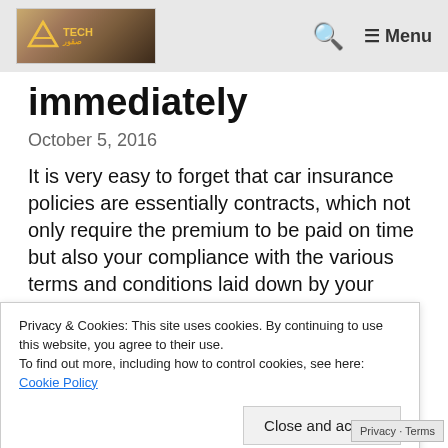TECH Menu (navigation bar with logo, search icon, and menu)
immediately
October 5, 2016
It is very easy to forget that car insurance policies are essentially contracts, which not only require the premium to be paid on time but also your compliance with the various terms and conditions laid down by your insurer. Some common mistakes that you
Privacy & Cookies: This site uses cookies. By continuing to use this website, you agree to their use.
To find out more, including how to control cookies, see here:
Cookie Policy

Close and accept
Privacy · Terms